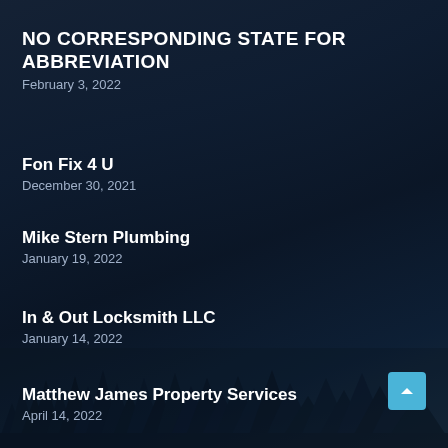NO CORRESPONDING STATE FOR ABBREVIATION
February 3, 2022
Fon Fix 4 U
December 30, 2021
Mike Stern Plumbing
January 19, 2022
In & Out Locksmith LLC
January 14, 2022
Matthew James Property Services
April 14, 2022